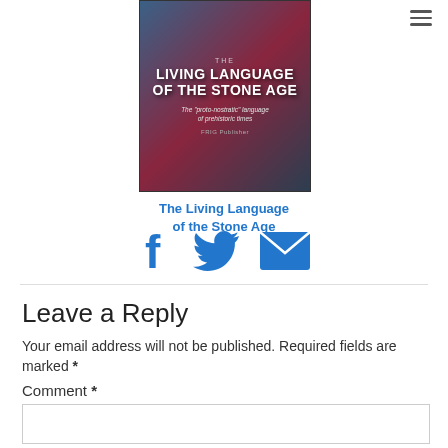[Figure (illustration): Book cover image for 'The Living Language of the Stone Age' - dark background with white bold title text and subtitle 'The proto-nostratic language of prehistoric times', published by FRIG Publisher]
The Living Language of the Stone Age
[Figure (infographic): Social share icons: Facebook (f), Twitter (bird), and Email (envelope) in blue]
Leave a Reply
Your email address will not be published. Required fields are marked *
Comment *